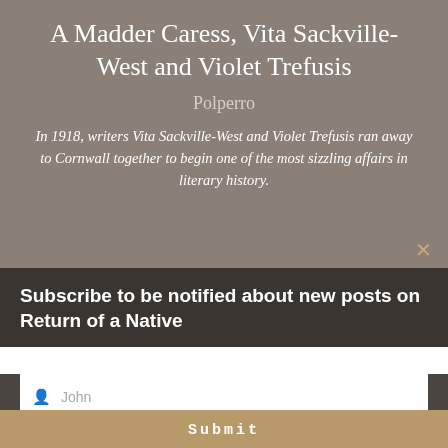A Madder Caress, Vita Sackville-West and Violet Trefusis
Polperro
In 1918, writers Vita Sackville-West and Violet Trefusis ran away to Cornwall together to begin one of the most sizzling affairs in literary history.
Subscribe to be notified about new posts on Return of a Native
John
Smith
johnsmith@example.com
Submit